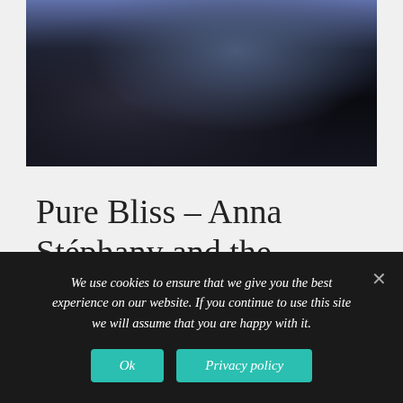[Figure (photo): Portrait photo of a person wearing dark clothing, close-up shot with dark/blue background tones]
Pure Bliss – Anna Stéphany and the Labyrinth Ensemble
We use cookies to ensure that we give you the best experience on our website. If you continue to use this site we will assume that you are happy with it.